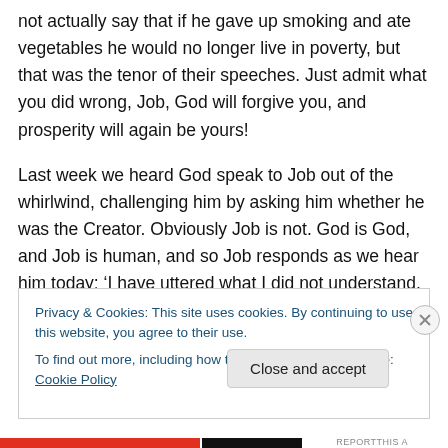not actually say that if he gave up smoking and ate vegetables he would no longer live in poverty, but that was the tenor of their speeches. Just admit what you did wrong, Job, God will forgive you, and prosperity will again be yours!
Last week we heard God speak to Job out of the whirlwind, challenging him by asking him whether he was the Creator. Obviously Job is not. God is God, and Job is human, and so Job responds as we hear him today: ‘I have uttered what I did not understand, things too
Privacy & Cookies: This site uses cookies. By continuing to use this website, you agree to their use.
To find out more, including how to control cookies, see here: Cookie Policy